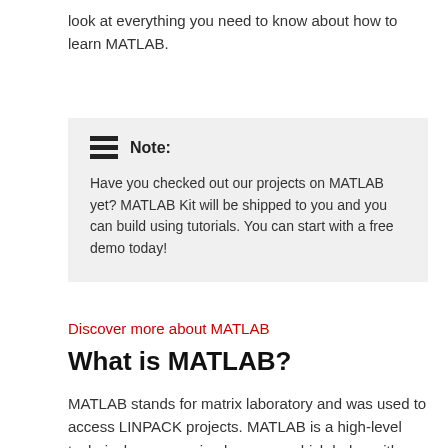look at everything you need to know about how to learn MATLAB.
Note: Have you checked out our projects on MATLAB yet? MATLAB Kit will be shipped to you and you can build using tutorials. You can start with a free demo today!
Discover more about MATLAB
What is MATLAB?
MATLAB stands for matrix laboratory and was used to access LINPACK projects. MATLAB is a high-level technical programming language which helps with simulations and analysis. It combines analysis, computation, programming